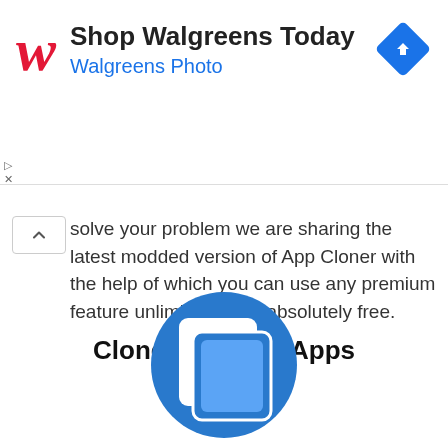[Figure (screenshot): Walgreens advertisement banner with red italic W logo, 'Shop Walgreens Today' heading, 'Walgreens Photo' subtitle in blue, and a blue diamond navigation arrow icon on the right]
solve your problem we are sharing the latest modded version of App Cloner with the help of which you can use any premium feature unlimited times absolutely free.
Clone Premium Apps
[Figure (logo): App Cloner icon: blue circle with two overlapping white/blue rounded rectangles representing cloning/copying apps]